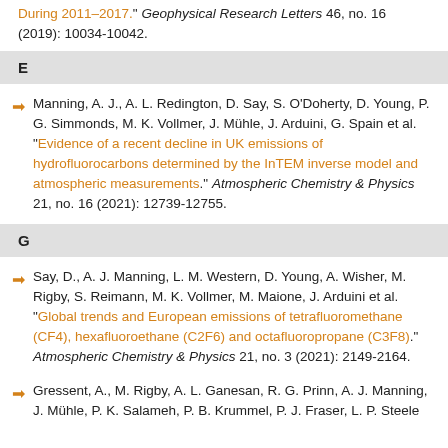During 2011–2017." Geophysical Research Letters 46, no. 16 (2019): 10034-10042.
E
Manning, A. J., A. L. Redington, D. Say, S. O'Doherty, D. Young, P. G. Simmonds, M. K. Vollmer, J. Mühle, J. Arduini, G. Spain et al. "Evidence of a recent decline in UK emissions of hydrofluorocarbons determined by the InTEM inverse model and atmospheric measurements." Atmospheric Chemistry & Physics 21, no. 16 (2021): 12739-12755.
G
Say, D., A. J. Manning, L. M. Western, D. Young, A. Wisher, M. Rigby, S. Reimann, M. K. Vollmer, M. Maione, J. Arduini et al. "Global trends and European emissions of tetrafluoromethane (CF4), hexafluoroethane (C2F6) and octafluoropropane (C3F8)." Atmospheric Chemistry & Physics 21, no. 3 (2021): 2149-2164.
Gressent, A., M. Rigby, A. L. Ganesan, R. G. Prinn, A. J. Manning, J. Mühle, P. K. Salameh, P. B. Krummel, P. J. Fraser, L. P. Steele